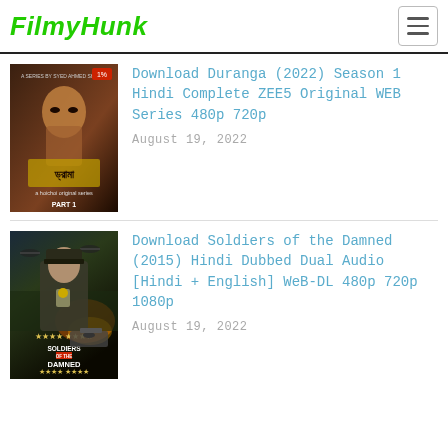FilmyHunk
[Figure (screenshot): Movie/series poster for Duranga (2022) - dark dramatic poster showing a man's face, Bengali text, 'a hoichoi original series', PART 1]
Download Duranga (2022) Season 1 Hindi Complete ZEE5 Original WEB Series 480p 720p
August 19, 2022
[Figure (screenshot): Movie poster for Soldiers of the Damned (2015) - military action film showing a Nazi officer, helicopters, explosions, tanks, four-star rating]
Download Soldiers of the Damned (2015) Hindi Dubbed Dual Audio [Hindi + English] WeB-DL 480p 720p 1080p
August 19, 2022